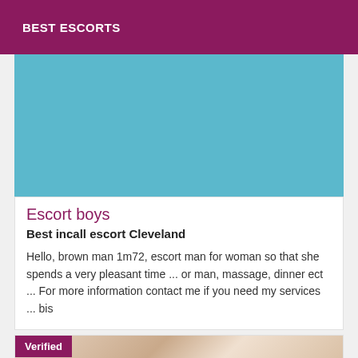BEST ESCORTS
[Figure (photo): Light blue/teal colored rectangular photo placeholder area]
Escort boys
Best incall escort Cleveland
Hello, brown man 1m72, escort man for woman so that she spends a very pleasant time ... or man, massage, dinner ect ... For more information contact me if you need my services ... bis
[Figure (photo): Partial photo of a person with dark hair, with a Verified badge overlay in the top-left corner]